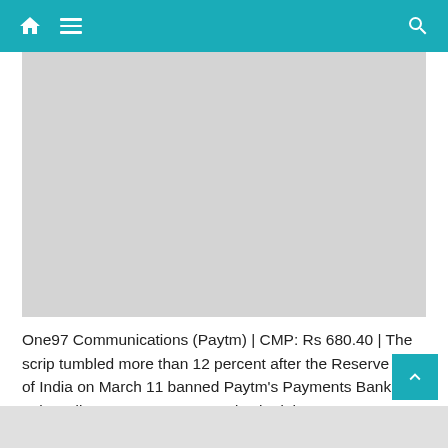Navigation bar with home, menu, and search icons
[Figure (photo): Gray placeholder image area]
One97 Communications (Paytm) | CMP: Rs 680.40 | The scrip tumbled more than 12 percent after the Reserve Bank of India on March 11 banned Paytm’s Payments Bank from onboarding new customers and asked the company to undertake an IT systems audit to review gaps in the fintech company’s technology in a fresh blow to investors of the company. The company in a statement said it was taking immediate steps to comply with the central bank’s directions.